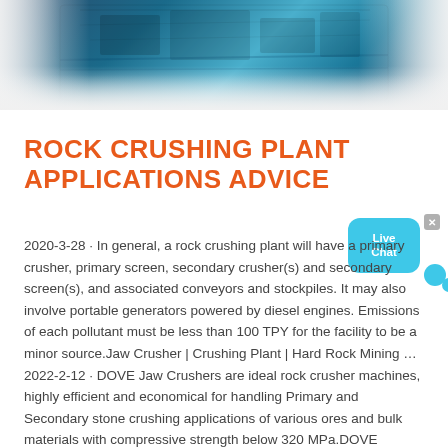[Figure (photo): Aerial or close-up photo of rock crushing machinery with blue/teal industrial equipment, fading into white at edges]
ROCK CRUSHING PLANT APPLICATIONS ADVICE
2020-3-28 · In general, a rock crushing plant will have a primary crusher, primary screen, secondary crusher(s) and secondary screen(s), and associated conveyors and stockpiles. It may also involve portable generators powered by diesel engines. Emissions of each pollutant must be less than 100 TPY for the facility to be a minor source.Jaw Crusher | Crushing Plant | Hard Rock Mining … 2022-2-12 · DOVE Jaw Crushers are ideal rock crusher machines, highly efficient and economical for handling Primary and Secondary stone crushing applications of various ores and bulk materials with compressive strength below 320 MPa.DOVE Crushers are supplied in Stationary complex plant configuration, or in Portable and Mobile configuration.. Designed with optimum …